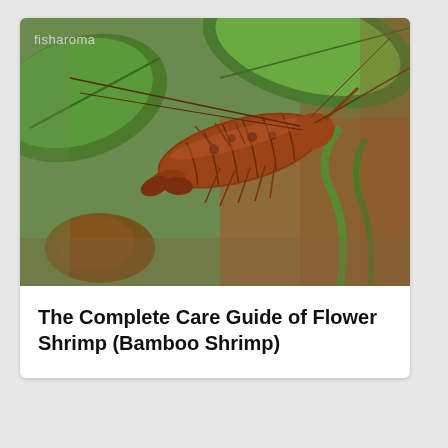[Figure (photo): Close-up photo of a Bamboo Shrimp (Flower Shrimp) with a brown, textured shell and long antennae, perched among green aquatic plants. A watermark reading 'fisharoma' appears in the top-left corner.]
The Complete Care Guide of Flower Shrimp (Bamboo Shrimp)